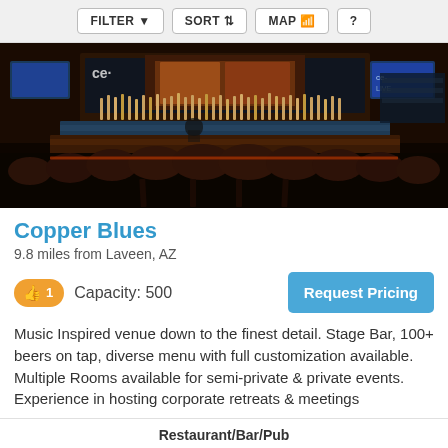FILTER   SORT   MAP   ?
[Figure (photo): Interior photo of Copper Blues bar showing a long bar counter with many bar stools, extensive tap beer handles along the bar top, backlit liquor shelves, and multiple TV screens on the walls in a dark, upscale setting.]
Copper Blues
9.8 miles from Laveen, AZ
👍 1   Capacity: 500
Request Pricing
Music Inspired venue down to the finest detail. Stage Bar, 100+ beers on tap, diverse menu with full customization available. Multiple Rooms available for semi-private & private events. Experience in hosting corporate retreats & meetings
Restaurant/Bar/Pub